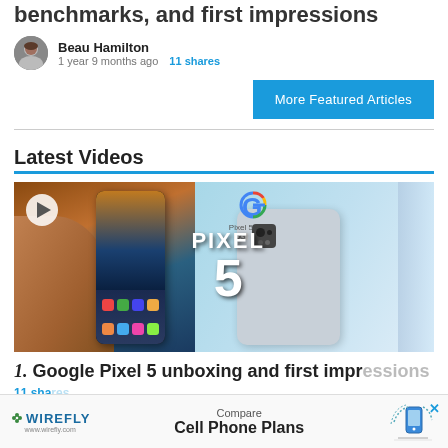benchmarks, and first impressions
Beau Hamilton · 1 year 9 months ago · 11 shares
More Featured Articles
Latest Videos
[Figure (screenshot): Video thumbnail showing Google Pixel 5 unboxing with play button. Left side shows a hand holding a Pixel 5 phone with colorful wallpaper and app icons. Center overlay shows 'PIXEL 5' in large white bold text. Right side shows the back of a Pixel 5 phone in sage green with Google 'G' logo and Pixel 5 branding on packaging.]
1. Google Pixel 5 unboxing and first impressions
11 shares
[Figure (screenshot): Advertisement banner for Wirefly.com showing 'Compare Cell Phone Plans' with a phone graphic and X close button]